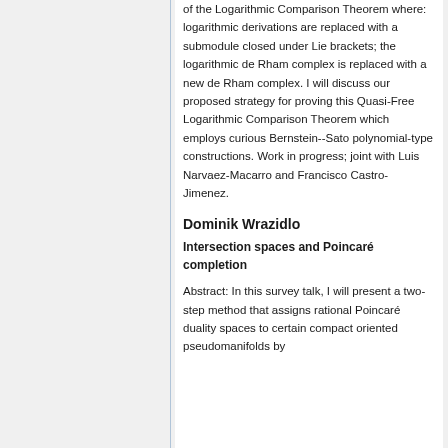of the Logarithmic Comparison Theorem where: logarithmic derivations are replaced with a submodule closed under Lie brackets; the logarithmic de Rham complex is replaced with a new de Rham complex. I will discuss our proposed strategy for proving this Quasi-Free Logarithmic Comparison Theorem which employs curious Bernstein--Sato polynomial-type constructions. Work in progress; joint with Luis Narvaez-Macarro and Francisco Castro-Jimenez.
Dominik Wrazidlo
Intersection spaces and Poincaré completion
Abstract: In this survey talk, I will present a two-step method that assigns rational Poincaré duality spaces to certain compact oriented pseudomanifolds by